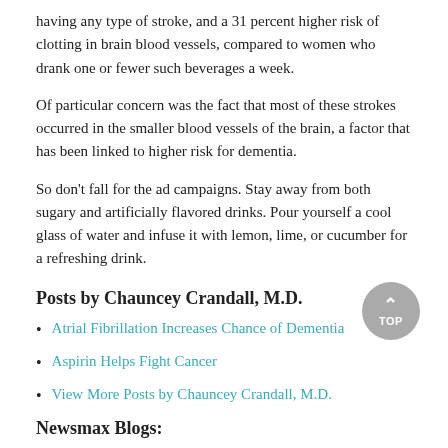having any type of stroke, and a 31 percent higher risk of clotting in brain blood vessels, compared to women who drank one or fewer such beverages a week.
Of particular concern was the fact that most of these strokes occurred in the smaller blood vessels of the brain, a factor that has been linked to higher risk for dementia.
So don't fall for the ad campaigns. Stay away from both sugary and artificially flavored drinks. Pour yourself a cool glass of water and infuse it with lemon, lime, or cucumber for a refreshing drink.
Posts by Chauncey Crandall, M.D.
Atrial Fibrillation Increases Chance of Dementia
Aspirin Helps Fight Cancer
View More Posts by Chauncey Crandall, M.D.
Newsmax Blogs:
Jacob Teitelbaum, M.D.: Promote Healthy Hormones to Reduce Pain